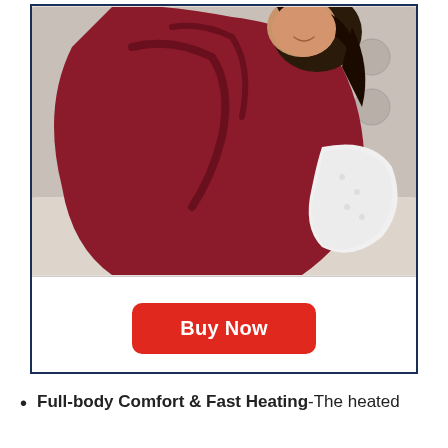[Figure (photo): A woman sitting on a tufted gray sofa, wrapped in a large red/burgundy fleece blanket with white sherpa lining, smiling. The blanket is draped over her body.]
Buy Now
Full-body Comfort & Fast Heating-The heated